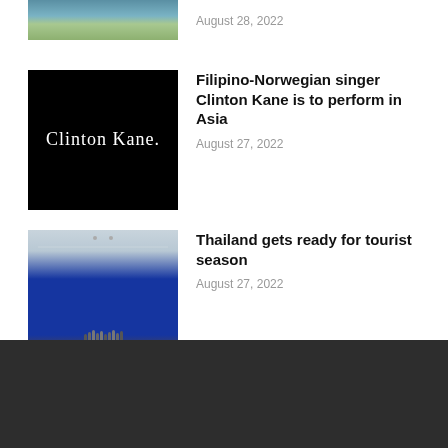[Figure (photo): Partial outdoor nature/water scene thumbnail at top]
August 28, 2022
[Figure (photo): Black background with cursive Clinton Kane signature in white]
Filipino-Norwegian singer Clinton Kane is to perform in Asia
August 27, 2022
[Figure (photo): Conference room with people standing in front of a blue banner/stage]
Thailand gets ready for tourist season
August 27, 2022
ADDRESS